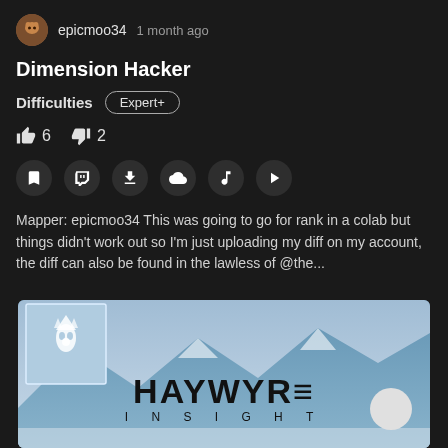epicmoo34  1 month ago
Dimension Hacker
Difficulties  Expert+
👍 6  👎 2
Mapper: epicmoo34 This was going to go for rank in a colab but things didn't work out so I'm just uploading my diff on my account, the diff can also be found in the lawless of @the...
[Figure (illustration): Album art for Haywyre - Insight. Shows a blueish landscape with mountains and snow, a white fox/wolf logo in a square frame at top left, and bold text HAYWYRE with INSIGHT spelled out below in spaced caps. A white circle is in the bottom right corner.]